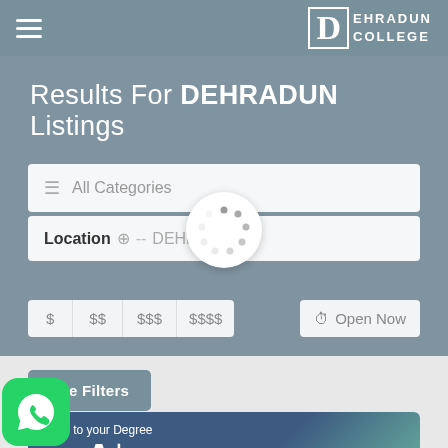Dehradun College
Results For DEHRADUN Listings
All Categories
Location -- DEHRADUN
$ $$ $$$ $$$$ | Open Now
See Filters
[Figure (screenshot): College listing card preview showing NAAC GRADE A+ with value to your degree text and college building image]
[Figure (logo): WhatsApp green circular logo in bottom left corner]